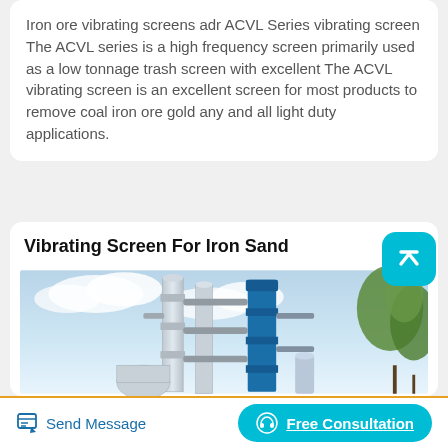Iron ore vibrating screens adr ACVL Series vibrating screen The ACVL series is a high frequency screen primarily used as a low tonnage trash screen with excellent The ACVL vibrating screen is an excellent screen for most products to remove coal iron ore gold any and all light duty applications.
Vibrating Screen For Iron Sand
[Figure (photo): Industrial plant with tall cylindrical towers, pipes, and a blue vertical column against a partly cloudy sky with trees/foliage visible on the right.]